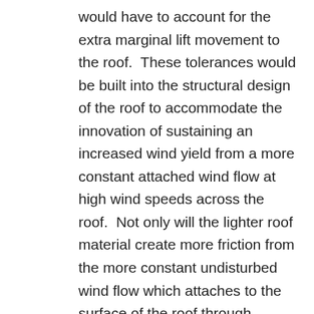would have to account for the extra marginal lift movement to the roof. These tolerances would be built into the structural design of the roof to accommodate the innovation of sustaining an increased wind yield from a more constant attached wind flow at high wind speeds across the roof. Not only will the lighter roof material create more friction from the more constant undisturbed wind flow which attaches to the surface of the roof through additional and constant lift, but also by doing so increases the wind speed of flow across the roof if the coanda effect is stronger, as it creates an even less disturbed wind flow.